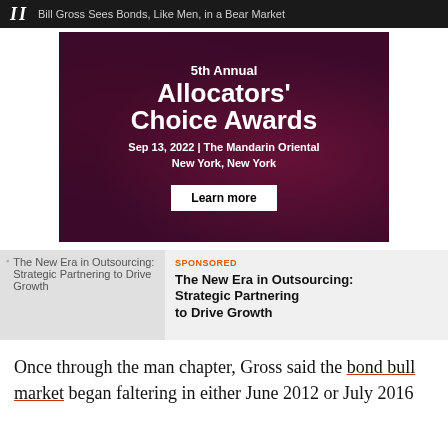II  Bill Gross Sees Bonds, Like Men, in a Bear Market
[Figure (other): Advertisement banner for 5th Annual Allocators' Choice Awards, Sep 13, 2022 | The Mandarin Oriental New York, New York. Dark maroon/purple background with decorative elements. Includes 'Learn more' button.]
[Figure (other): Sponsored content card: 'The New Era in Outsourcing: Strategic Partnering to Drive Growth' with thumbnail image on left and SPONSORED label with bold title on right.]
Once through the man chapter, Gross said the bond bull market began faltering in either June 2012 or July 2016